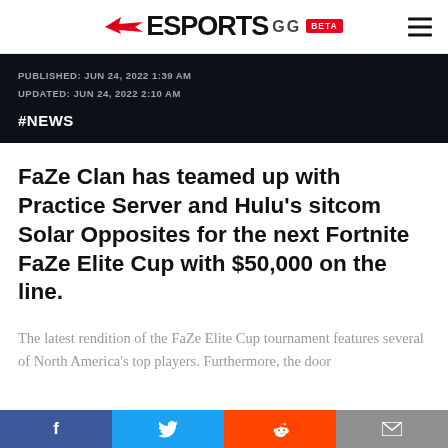ESPORTS.GG BETA
PUBLISHED: JUN 24, 2022 1:39 AM
UPDATED: JUN 24, 2022 2:10 AM
#NEWS
FaZe Clan has teamed up with Practice Server and Hulu’s sitcom Solar Opposites for the next Fortnite FaZe Elite Cup with $50,000 on the line.
The latest rendition of the FaZe Elite Cup tournament features several of North America’s top players. Furthermore, the door